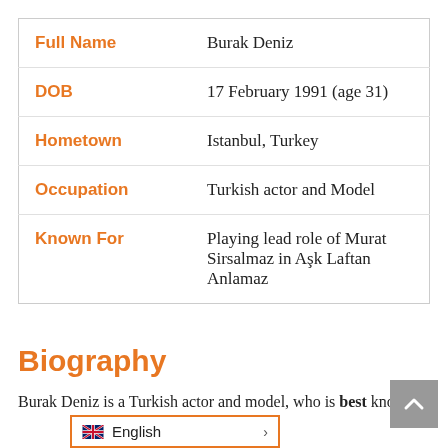| Field | Value |
| --- | --- |
| Full Name | Burak Deniz |
| DOB | 17 February 1991 (age 31) |
| Hometown | Istanbul, Turkey |
| Occupation | Turkish actor and Model |
| Known For | Playing lead role of Murat Sirsalmaz in Aşk Laftan Anlamaz |
Biography
Burak Deniz is a Turkish actor and model, who is best kno... Murat Sarsılmaz in the